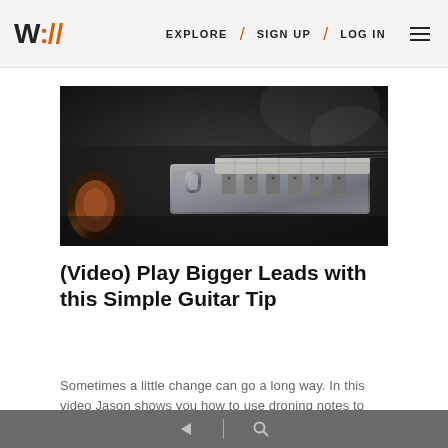W:// EXPLORE / SIGN UP / LOG IN
[Figure (photo): Close-up macro photograph of an electric guitar bridge and tremolo system showing metal saddles, tuning screws, and a guitar pick in the background, dark moody lighting]
(Video) Play Bigger Leads with this Simple Guitar Tip
Sometimes a little change can go a long way. In this video Jason shows you how to use droning notes to bump your leads up.